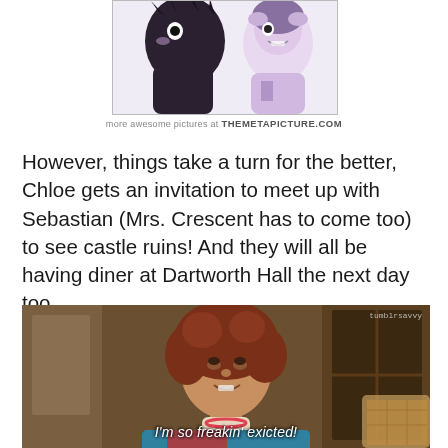[Figure (illustration): Partial view of a cartoon illustration showing a dark-haired character, purple and white colors, with a website watermark below reading 'more awesome pictures at THEMETAPICTURE.COM']
more awesome pictures at THEMETAPICTURE.COM
However, things take a turn for the better, Chloe gets an invitation to meet up with Sebastian (Mrs. Crescent has to come too) to see castle ruins! And they will all be having diner at Dartworth Hall the next day too.
[Figure (photo): Photo of a woman with curly reddish-brown hair wearing a colorful sweater, appearing excited, with a caption at the bottom reading: I'm so freakin' exicted! Tumblrsavvy watermark in top right corner.]